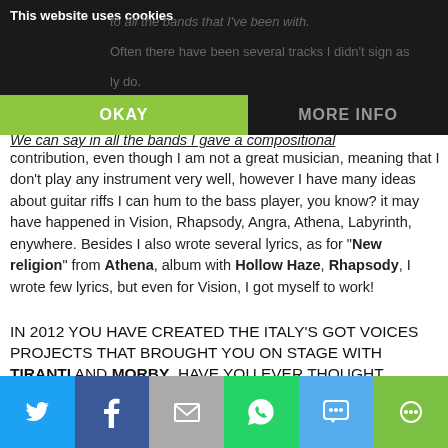This website uses cookies
We can say in all the bands I gave a compositional contribution, even though I am not a great musician, meaning that I don't play any instrument very well, however I have many ideas about guitar riffs I can hum to the bass player, you know? it may have happened in Vision, Rhapsody, Angra, Athena, Labyrinth, enywhere. Besides I also wrote several lyrics, as for "New religion" from Athena, album with Hollow Haze, Rhapsody, I wrote few lyrics, but even for Vision, I got myself to work!
IN 2012 YOU HAVE CREATED THE ITALY'S GOT VOICES PROJECTS THAT BROUGHT YOU ON STAGE WITH TIRANTI AND MORBY. HAVE YOU EVER THOUGHT ABOUT ANY RECORDING SESSION OR WAS THE PROJECT SUPPOSED TO BE LIVE ONLY?